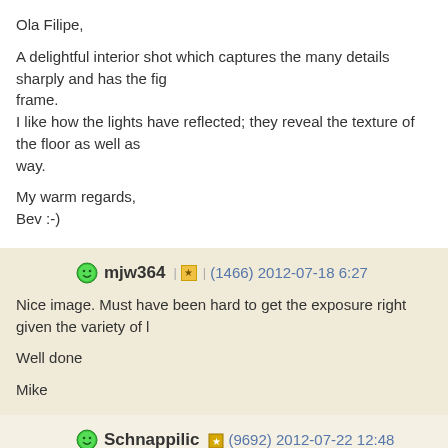Ola Filipe,

A delightful interior shot which captures the many details sharply and has the fig frame.
I like how the lights have reflected; they reveal the texture of the floor as well as way.

My warm regards,
Bev :-)
mjw364 (1466) 2012-07-18 6:27

Nice image. Must have been hard to get the exposure right given the variety of l

Well done

Mike
Schnappilic (9692) 2012-07-22 12:48

Hello Filipe,

Good presentation of the throne room with perfect exposure and light managem Congratulations!

All the best,